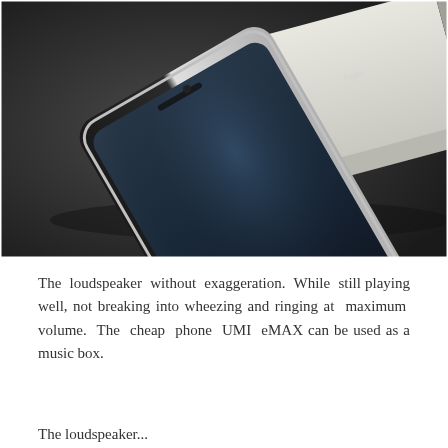[Figure (photo): A black smartphone (UMI eMAX) lying at an angle on a dark surface, with a grey box/packaging in the upper right background. The phone screen is dark with faint navigation buttons visible at the bottom.]
The loudspeaker without exaggeration. While still playing well, not breaking into wheezing and ringing at maximum volume. The cheap phone UMI eMAX can be used as a music box.
The loudspeaker...